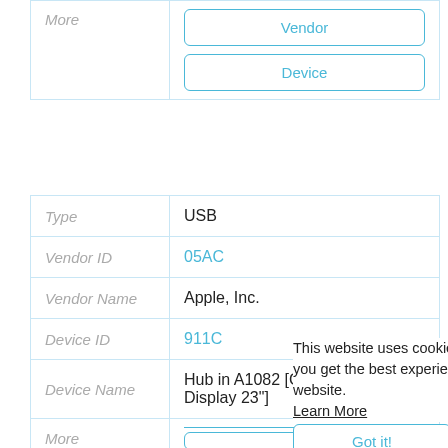| More | Vendor
Device |
| Type | USB |
| Vendor ID | 05AC |
| Vendor Name | Apple, Inc. |
| Device ID | 911C |
| Device Name | Hub in A1082 [Cinema HD Display 23"] |
| More |  |
This website uses cookies to ensure you get the best experience on our website.
Learn More
Got it!
| Type |  |
| Vendor ID |  |
| Vendor Nam |  |
| Device ID |  |